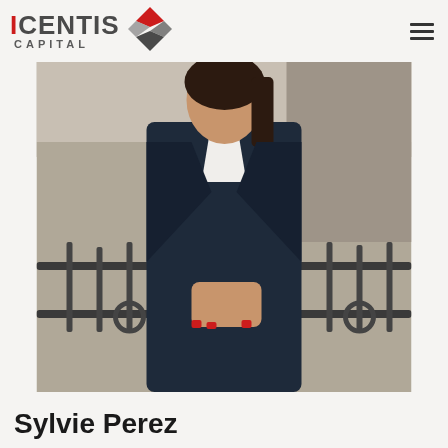[Figure (logo): Icentis Capital logo with red and grey diamond/X icon and company name text]
[Figure (photo): Professional headshot of a woman in a dark navy blazer with white shirt, leaning on a railing outdoors on stone steps]
Sylvie Perez